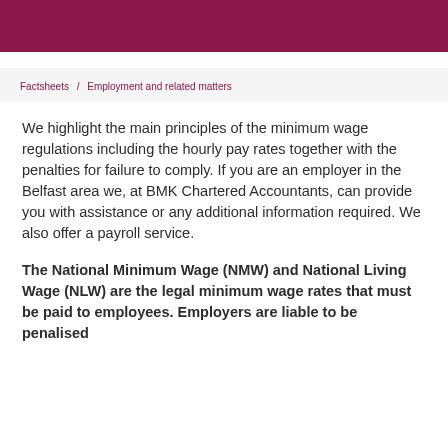Factsheets / Employment and related matters
We highlight the main principles of the minimum wage regulations including the hourly pay rates together with the penalties for failure to comply. If you are an employer in the Belfast area we, at BMK Chartered Accountants, can provide you with assistance or any additional information required. We also offer a payroll service.
The National Minimum Wage (NMW) and National Living Wage (NLW) are the legal minimum wage rates that must be paid to employees. Employers are liable to be penalised